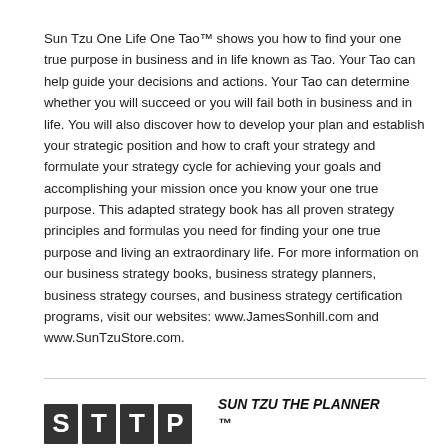Sun Tzu One Life One Tao™ shows you how to find your one true purpose in business and in life known as Tao. Your Tao can help guide your decisions and actions. Your Tao can determine whether you will succeed or you will fail both in business and in life. You will also discover how to develop your plan and establish your strategic position and how to craft your strategy and formulate your strategy cycle for achieving your goals and accomplishing your mission once you know your one true purpose. This adapted strategy book has all proven strategy principles and formulas you need for finding your one true purpose and living an extraordinary life. For more information on our business strategy books, business strategy planners, business strategy courses, and business strategy certification programs, visit our websites: www.JamesSonhill.com and www.SunTzuStore.com.
[Figure (logo): Logo with large bold block letters at bottom left]
SUN TZU THE PLANNER™